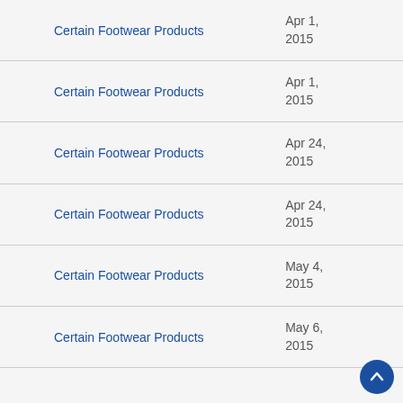| Product | Date |
| --- | --- |
| Certain Footwear Products | Apr 1, 2015 |
| Certain Footwear Products | Apr 1, 2015 |
| Certain Footwear Products | Apr 24, 2015 |
| Certain Footwear Products | Apr 24, 2015 |
| Certain Footwear Products | May 4, 2015 |
| Certain Footwear Products | May 6, 2015 |